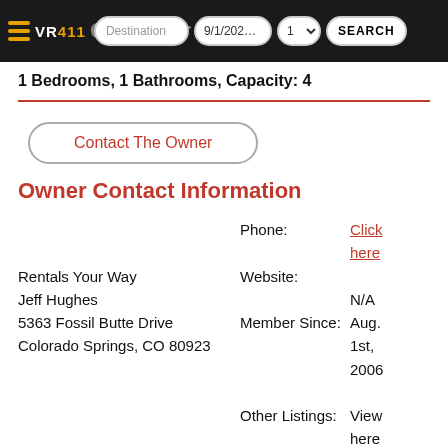VR411 | Destination | 9/1/2022 | 1 | SEARCH | Calendar
1 Bedrooms, 1 Bathrooms, Capacity: 4
Contact The Owner
Owner Contact Information
Phone: Click here
Website: N/A
Rentals Your Way
Jeff Hughes
5363 Fossil Butte Drive
Colorado Springs, CO 80923
Member Since: Aug. 1st, 2006
Other Listings: View here
Contact The Owner